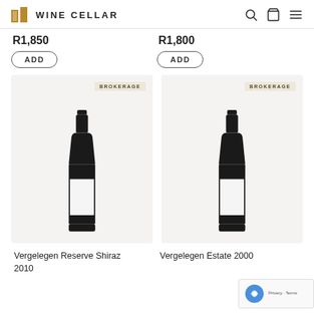WINE CELLAR
R1,850
R1,800
ADD
ADD
[Figure (photo): Wine bottle with white label - Vergelegen Reserve Shiraz 2010, brokerage item]
[Figure (photo): Wine bottle with white label - Vergelegen Estate 2000, brokerage item]
Vergelegen Reserve Shiraz 2010
Vergelegen Estate 2000